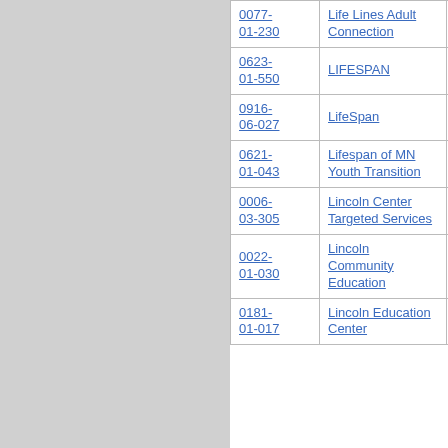| ID | Organization | Link |
| --- | --- | --- |
| 0077-01-230 | Life Lines Adult Connection |  |
| 0623-01-550 | LIFESPAN |  |
| 0916-06-027 | LifeSpan | Ja… |
| 0621-01-043 | Lifespan of MN Youth Transition |  |
| 0006-03-305 | Lincoln Center Targeted Services | ts… |
| 0022-01-030 | Lincoln Community Education | dr… |
| 0181-01-017 | Lincoln Education Center | ar… |